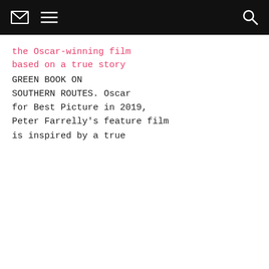[envelope icon] [menu icon] [search icon]
the Oscar-winning film based on a true story GREEN BOOK ON SOUTHERN ROUTES. Oscar for Best Picture in 2019, Peter Farrelly's feature film is inspired by a true